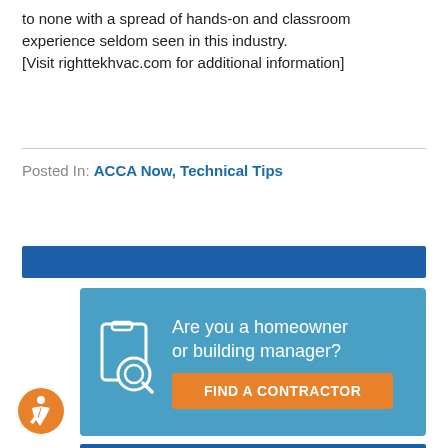to none with a spread of hands-on and classroom experience seldom seen in this industry. [Visit righttekhvac.com for additional information]
Posted In: ACCA Now, Technical Tips
[Figure (infographic): Blue horizontal bar banner]
[Figure (infographic): Light blue advertisement box with icon, text 'Are you a homeowner or building manager?' and orange button 'FIND A CONTRACTOR']
[Figure (illustration): Accessibility icon in orange circle at bottom left]
[Figure (infographic): Blue horizontal bar at the bottom]